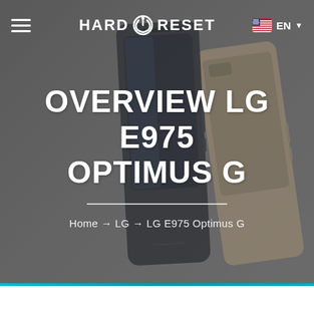[Figure (screenshot): Hero section with background showing two smartphones (dark blue and gold/tan LG phones) on a gray gradient background]
HARD RESET — EN
OVERVIEW LG E975 OPTIMUS G
Home → LG → LG E975 Optimus G